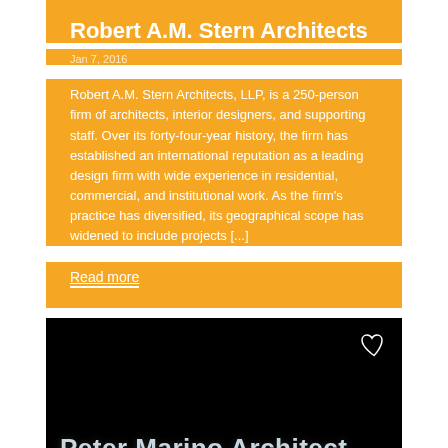Robert A.M. Stern Architects
Jan 7, 2016
Robert A.M. Stern Architects, LLP, is a 250-person firm of architects, interior designers, and supporting staff. Over its forty-four-year history, the firm has established an international reputation as a leading design firm with wide experience in residential, commercial, and institutional work. As the firm's practice has diversified, its geographical scope has widened to include projects [...]
Read more
[Figure (screenshot): Black card with white heart icon in top-right corner and 'Peter Marino Architect' text in light blue/grey at the bottom]